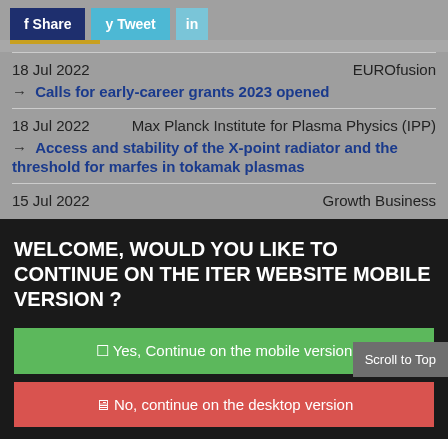f Share  y Tweet  in
18 Jul 2022   EUROfusion
→ Calls for early-career grants 2023 opened
18 Jul 2022   Max Planck Institute for Plasma Physics (IPP)
→ Access and stability of the X-point radiator and the threshold for marfes in tokamak plasmas
15 Jul 2022   Growth Business
WELCOME, WOULD YOU LIKE TO CONTINUE ON THE ITER WEBSITE MOBILE VERSION ?
☐ Yes, Continue on the mobile version
🖥 No, continue on the desktop version
Scroll to Top